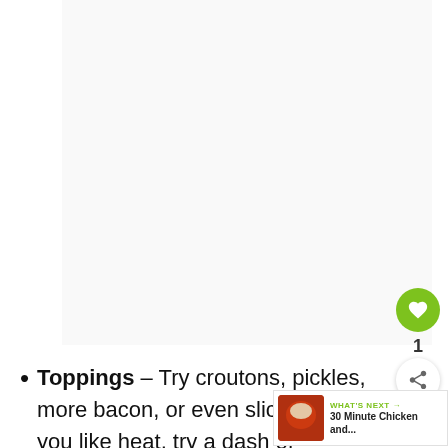[Figure (photo): Large food/recipe photo area (mostly white/blank in visible portion)]
Toppings – Try croutons, pickles, more bacon, or even sliced onion. If you like heat, try a dash of